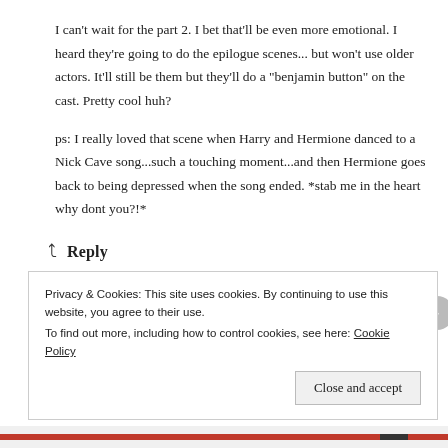I can't wait for the part 2. I bet that'll be even more emotional. I heard they're going to do the epilogue scenes... but won't use older actors. It'll still be them but they'll do a "benjamin button" on the cast. Pretty cool huh?
ps: I really loved that scene when Harry and Hermione danced to a Nick Cave song...such a touching moment...and then Hermione goes back to being depressed when the song ended. *stab me in the heart why dont you?!*
↩ Reply
Privacy & Cookies: This site uses cookies. By continuing to use this website, you agree to their use. To find out more, including how to control cookies, see here: Cookie Policy